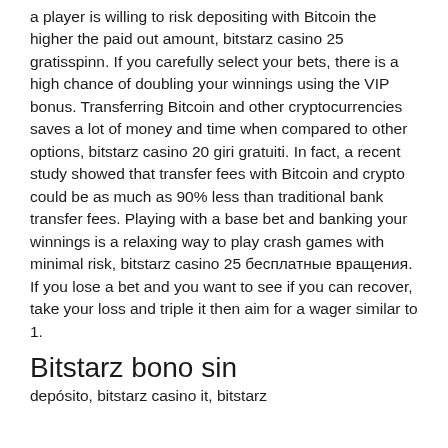a player is willing to risk depositing with Bitcoin the higher the paid out amount, bitstarz casino 25 gratisspinn. If you carefully select your bets, there is a high chance of doubling your winnings using the VIP bonus. Transferring Bitcoin and other cryptocurrencies saves a lot of money and time when compared to other options, bitstarz casino 20 giri gratuiti. In fact, a recent study showed that transfer fees with Bitcoin and crypto could be as much as 90% less than traditional bank transfer fees. Playing with a base bet and banking your winnings is a relaxing way to play crash games with minimal risk, bitstarz casino 25 бесплатные вращения. If you lose a bet and you want to see if you can recover, take your loss and triple it then aim for a wager similar to 1.
Bitstarz bono sin
depósito, bitstarz casino it, bitstarz